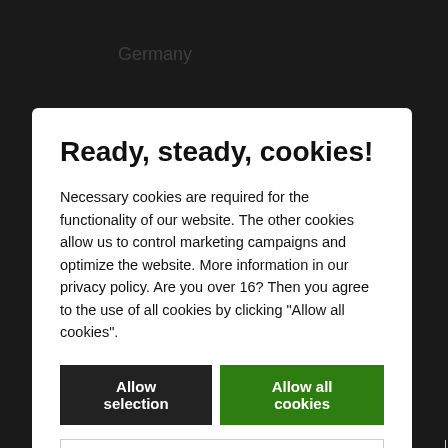Ready, steady, cookies!
Necessary cookies are required for the functionality of our website. The other cookies allow us to control marketing campaigns and optimize the website. More information in our privacy policy. Are you over 16? Then you agree to the use of all cookies by clicking "Allow all cookies".
Allow selection | Allow all cookies
Necessary | Preferences | Statistics | Marketing | Show details